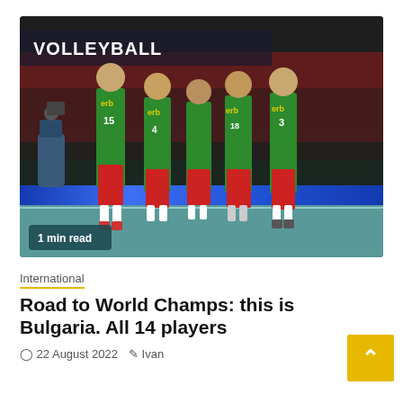[Figure (photo): Five Bulgaria national volleyball team players in green jerseys with red shorts standing on court looking upward, with 'VOLLEYBALL' signage in background and a cameraman visible. Player numbers visible include 18 and 3.]
1 min read
International
Road to World Champs: this is Bulgaria. All 14 players
22 August 2022  Ivan